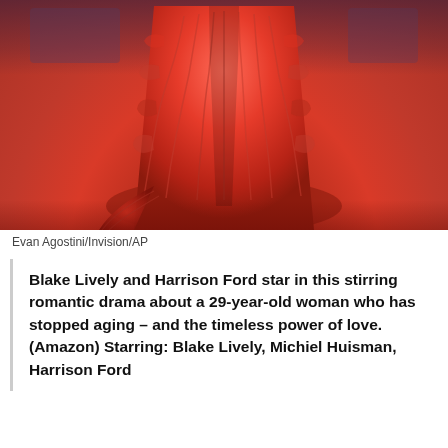[Figure (photo): A person wearing a voluminous red feathered gown standing on a red carpet. Only the lower portion of the dress and the red carpet are visible. The background shows a blurred dark setting.]
Evan Agostini/Invision/AP
Blake Lively and Harrison Ford star in this stirring romantic drama about a 29-year-old woman who has stopped aging – and the timeless power of love. (Amazon) Starring: Blake Lively, Michiel Huisman, Harrison Ford